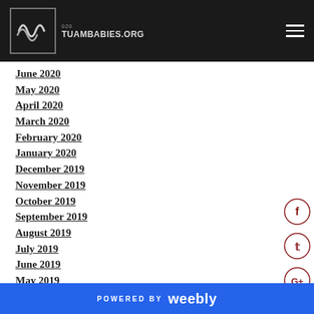TUAMBABIES.ORG
June 2020
May 2020
April 2020
March 2020
February 2020
January 2020
December 2019
November 2019
October 2019
September 2019
August 2019
July 2019
June 2019
May 2019
April 2019
POWERED BY weebly